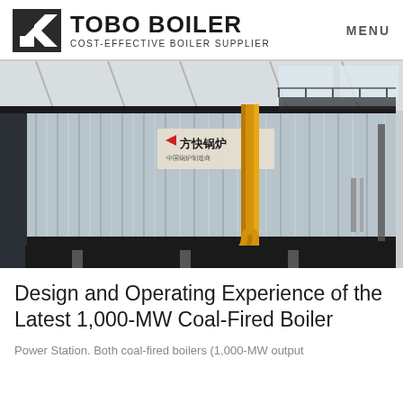TOBO BOILER — COST-EFFECTIVE BOILER SUPPLIER | MENU
[Figure (photo): Large industrial coal-fired boiler unit with corrugated metal cladding, yellow gas pipes in foreground, inside an industrial facility. Chinese text signage visible on the boiler body.]
Design and Operating Experience of the Latest 1,000-MW Coal-Fired Boiler
Power Station. Both coal-fired boilers (1,000-MW output